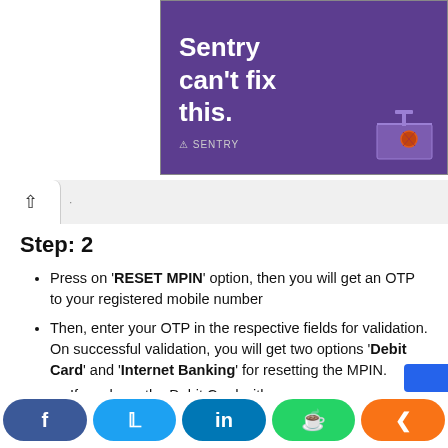[Figure (illustration): Purple advertisement banner for Sentry with text 'Sentry can't fix this.' and Sentry logo, with basketball/hoop graphic on right side]
Step: 2
Press on 'RESET MPIN' option, then you will get an OTP to your registered mobile number
Then, enter your OTP in the respective fields for validation. On successful validation, you will get two options 'Debit Card' and 'Internet Banking' for resetting the MPIN.
If you have the Debit Card with you,